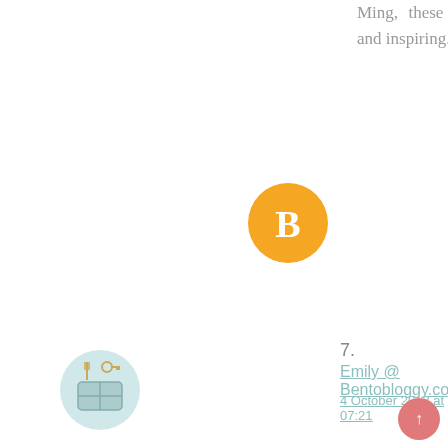Ming, these are so so adorable! Your lunches are always amazing, and inspiring. XO
Reply
[Figure (illustration): Blogger profile avatar icon - orange circle with white B letter]
Unknown
6 October 2012 at 23:56
Tk u, so kind of u, Keeley. :)
7.
[Figure (illustration): Emily at Bentobloggy.com avatar - illustrated bento box icon with utensils]
Emily @ Bentobloggy.com
4 October 2012 at 07:21